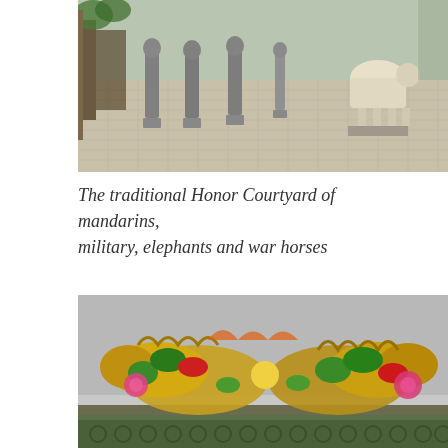[Figure (photo): Photograph of an Honor Courtyard with stone mandarin statues standing on pedestals in a line on a stone-paved courtyard. Several robed figures are visible with animals in the background.]
The traditional Honor Courtyard of mandarins, military, elephants and war horses
[Figure (photo): Photograph of colorful ornate ceramic dragon sculptures on a traditional Vietnamese temple roof, with vivid yellow, green, red, and pink glazed decorations against a grey sky.]